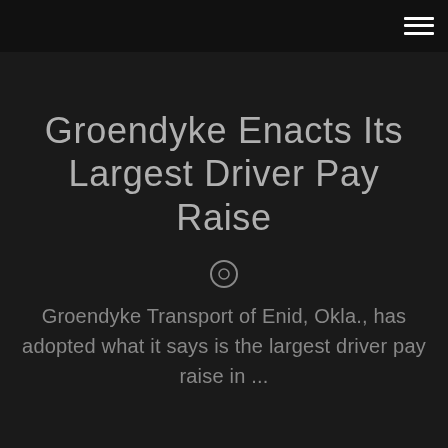Groendyke Enacts Its Largest Driver Pay Raise
Groendyke Transport of Enid, Okla., has adopted what it says is the largest driver pay raise in ...